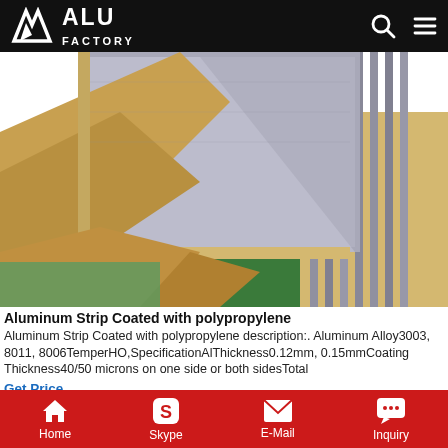ALU FACTORY
[Figure (photo): Aluminum sheets stacked and wrapped with brown kraft paper/tape on wooden pallets, showing metallic silver-gray sheet surfaces with protective wrapping]
Aluminum Strip Coated with polypropylene
Aluminum Strip Coated with polypropylene description:. Aluminum Alloy3003, 8011, 8006TemperHO,SpecificationAlThickness0.12mm, 0.15mmCoating Thickness40/50 microns on one side or both sidesTotal
Get Price
[Figure (photo): Partial view of aluminum sheets stacked]
Home  Skype  E-Mail  Inquiry